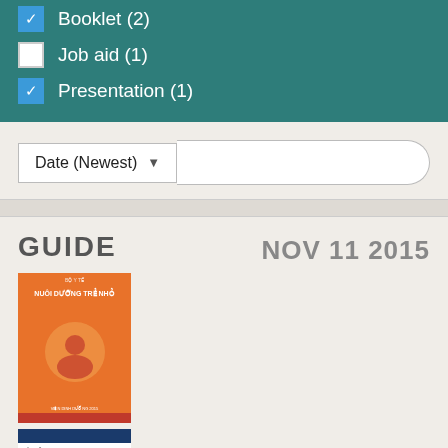Booklet (2)
Job aid (1)
Presentation (1)
Date (Newest)
GUIDE
NOV 11 2015
[Figure (screenshot): Six document thumbnails showing Vietnamese infant and young child feeding guides and training materials, arranged in a 2x3 grid. Top row: orange booklet cover, white booklet with blue bars, white booklet with red bars. Bottom row: white booklet with red top bar, orange presentation cover, white booklet with blue top bar.]
[Figure (logo): Google reCAPTCHA badge with spinning logo and Privacy - Terms text]